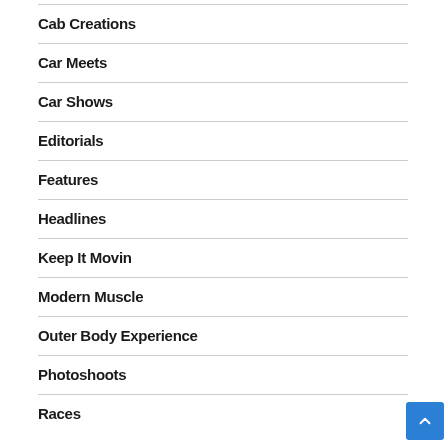Cab Creations
Car Meets
Car Shows
Editorials
Features
Headlines
Keep It Movin
Modern Muscle
Outer Body Experience
Photoshoots
Races